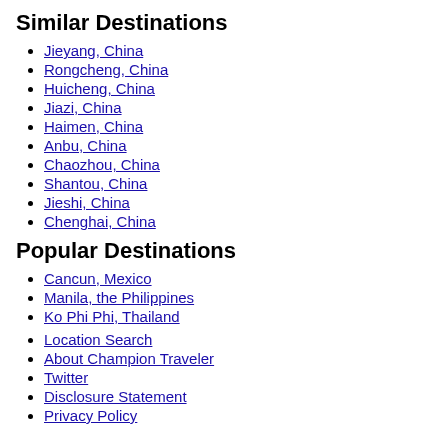Similar Destinations
Jieyang, China
Rongcheng, China
Huicheng, China
Jiazi, China
Haimen, China
Anbu, China
Chaozhou, China
Shantou, China
Jieshi, China
Chenghai, China
Popular Destinations
Cancun, Mexico
Manila, the Philippines
Ko Phi Phi, Thailand
Location Search
About Champion Traveler
Twitter
Disclosure Statement
Privacy Policy